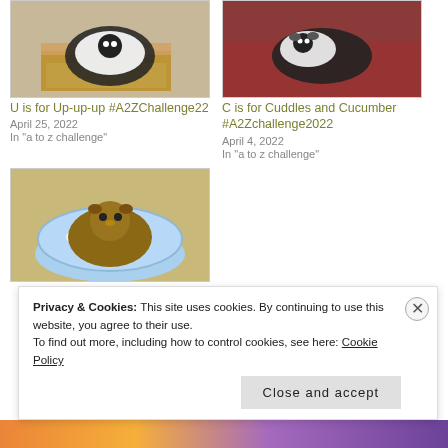[Figure (photo): Black and white guinea pig sitting in a cardboard box with hay]
[Figure (photo): Black and white guinea pig resting on a red blanket]
U is for Up-up-up #A2ZChallenge22
April 25, 2022
In "a to z challenge"
C is for Cuddles and Cucumber #A2Zchallenge2022
April 4, 2022
In "a to z challenge"
[Figure (photo): Brown guinea pig sitting in a blue patterned fabric bed]
S...
Privacy & Cookies: This site uses cookies. By continuing to use this website, you agree to their use.
To find out more, including how to control cookies, see here: Cookie Policy
Close and accept